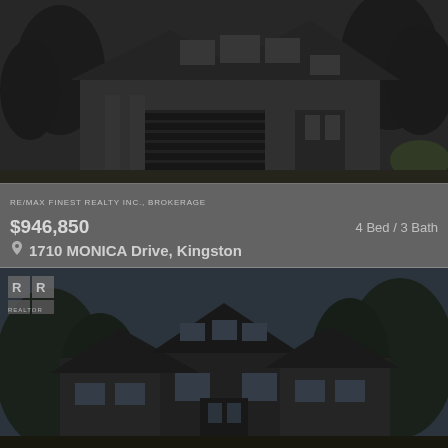[Figure (photo): Exterior photo of a modern two-story dark grey house with garage, trees in background, dark overlay]
RE/MAX FINEST REALTY INC., BROKERAGE
$946,850
4 Bed / 3 Bath
1710 MONICA Drive, Kingston
[Figure (photo): Exterior photo of a large two-story dark house with multiple roof peaks, trees surrounding, dark overlay, with Realtor logo watermark in top left]